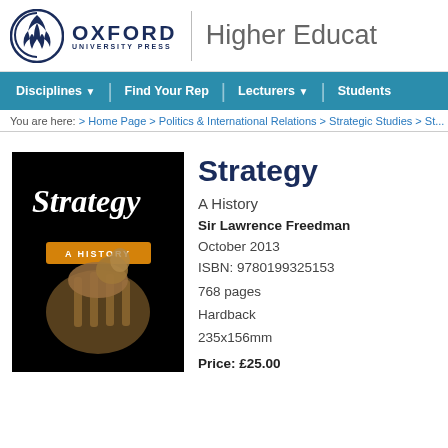Oxford University Press | Higher Education
[Figure (logo): Oxford University Press logo with circular emblem and text]
Higher Educat...
Disciplines ▼  |  Find Your Rep  |  Lecturers ▼  |  Students
You are here: > Home Page > Politics & International Relations > Strategic Studies > St...
[Figure (photo): Book cover of Strategy: A History showing a horse sculpture on black background]
Strategy
A History
Sir Lawrence Freedman
October 2013
ISBN: 9780199325153
768 pages
Hardback
235x156mm
Price: £25.00